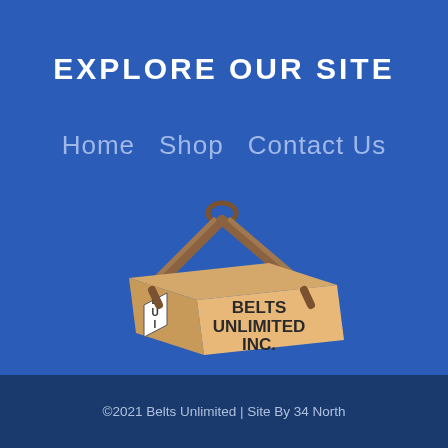EXPLORE OUR SITE
Home   Shop   Contact Us
[Figure (logo): Belts Unlimited Inc. logo: a rectangular box labeled BUI and BELTS UNLIMITED INC., suspended by two brown straps with a hook at the top.]
©2021 Belts Unlimited | Site By 34 North